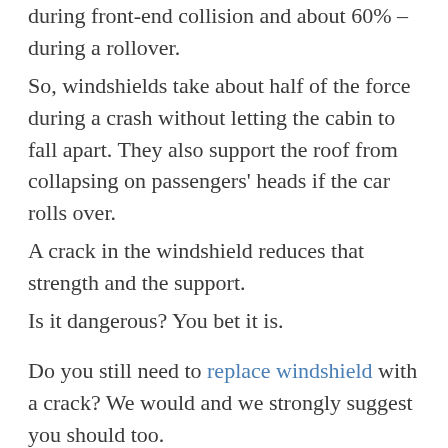during front-end collision and about 60% – during a rollover.
So, windshields take about half of the force during a crash without letting the cabin to fall apart. They also support the roof from collapsing on passengers' heads if the car rolls over.
A crack in the windshield reduces that strength and the support.
Is it dangerous? You bet it is.
Do you still need to replace windshield with a crack? We would and we strongly suggest you should too.
Windshields have another life-saving mission.
What is it?